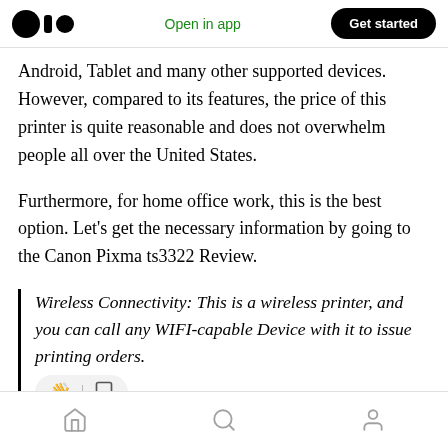Open in app | Get started
Android, Tablet and many other supported devices. However, compared to its features, the price of this printer is quite reasonable and does not overwhelm people all over the United States.
Furthermore, for home office work, this is the best option. Let's get the necessary information by going to the Canon Pixma ts3322 Review.
Wireless Connectivity: This is a wireless printer, and you can call any WIFI-capable Device with it to issue printing orders.
Home | Search | Profile